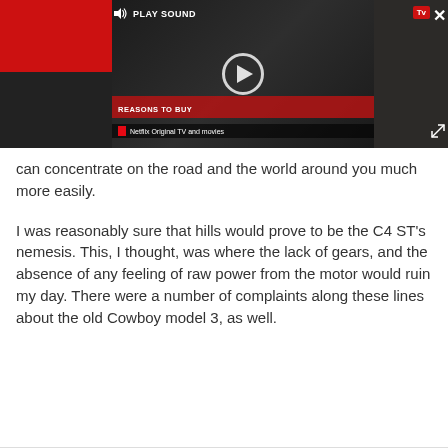[Figure (screenshot): Video player overlay with PLAY SOUND button, TV badge, close button, play button, REASONS TO BUY text bar, Netflix Original TV and movies bar, and expand button on dark background]
can concentrate on the road and the world around you much more easily.
I was reasonably sure that hills would prove to be the C4 ST's nemesis. This, I thought, was where the lack of gears, and the absence of any feeling of raw power from the motor would ruin my day. There were a number of complaints along these lines about the old Cowboy model 3, as well.